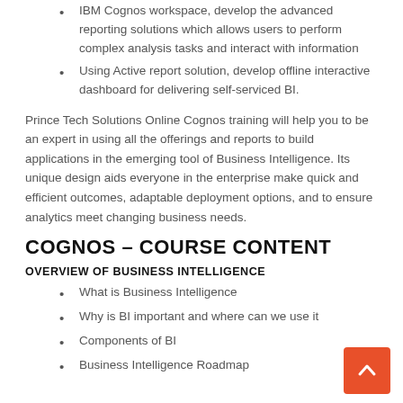IBM Cognos workspace, develop the advanced reporting solutions which allows users to perform complex analysis tasks and interact with information
Using Active report solution, develop offline interactive dashboard for delivering self-serviced BI.
Prince Tech Solutions Online Cognos training will help you to be an expert in using all the offerings and reports to build applications in the emerging tool of Business Intelligence. Its unique design aids everyone in the enterprise make quick and efficient outcomes, adaptable deployment options, and to ensure analytics meet changing business needs.
COGNOS – COURSE CONTENT
OVERVIEW OF BUSINESS INTELLIGENCE
What is Business Intelligence
Why is BI important and where can we use it
Components of BI
Business Intelligence Roadmap